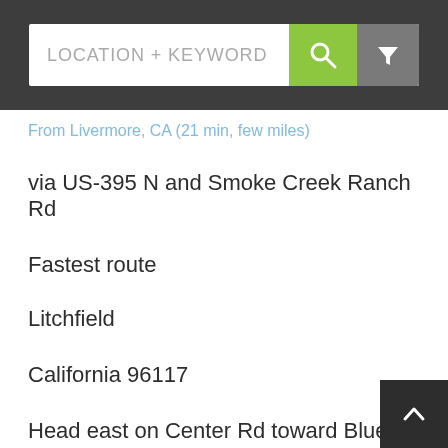LOCATION + KEYWORD
From Livermore, CA (21 min, few miles)
via US-395 N and Smoke Creek Ranch Rd
Fastest route
Litchfield
California 96117
Head east on Center Rd toward Blue Ln
476 ft
Slight left onto US-395 N